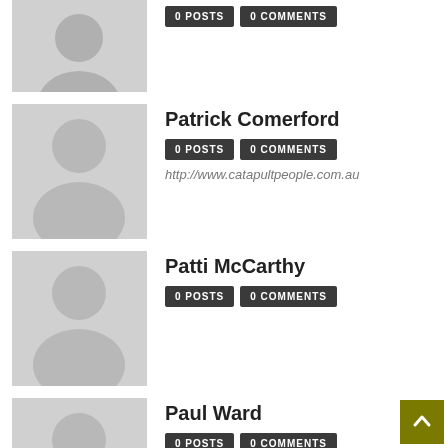[Figure (illustration): Partial user entry at top: grey silhouette avatar, 0 POSTS and 0 COMMENTS badges visible, user name cut off]
Patrick Comerford — 0 POSTS 0 COMMENTS — http://www.catapultpeople.com.au
Patti McCarthy — 0 POSTS 0 COMMENTS
Paul Ward — 0 POSTS 0 COMMENTS — http://Www.pjward.co.uk
paula mcgeown — 0 POSTS 0 COMMENTS
Paula1 — (partially visible)